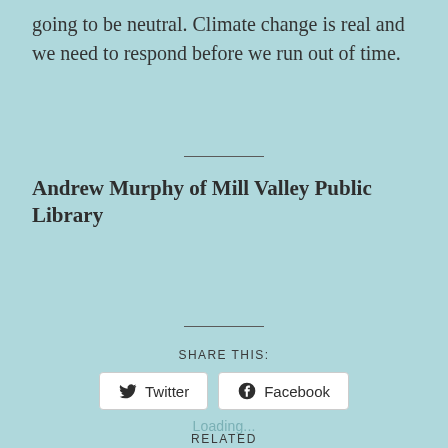going to be neutral. Climate change is real and we need to respond before we run out of time.
Andrew Murphy of Mill Valley Public Library
SHARE THIS:
Twitter
Facebook
Loading...
RELATED